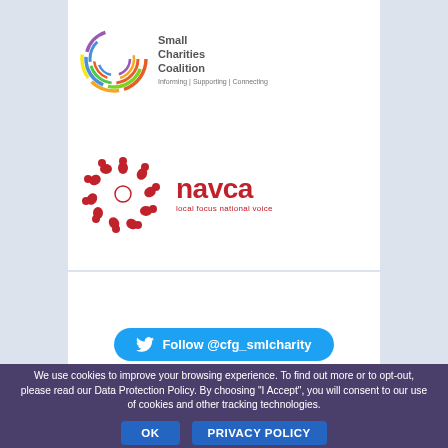[Figure (logo): Small Charities Coalition logo with circular coloured rings and text 'Small Charities Coalition — Informing | Supporting | Connecting']
[Figure (logo): NAVCA logo with red circular figure motif and text 'navca local focus national voice']
FOLLOW US IN TWITTER AND LINKEDIN
[Figure (other): Blue rounded button with Twitter bird icon and text 'Follow @cfg_smlcharity']
We use cookies to improve your browsing experience. To find out more or to opt-out, please read our Data Protection Policy. By choosing "I Accept", you will consent to our use of cookies and other tracking technologies.